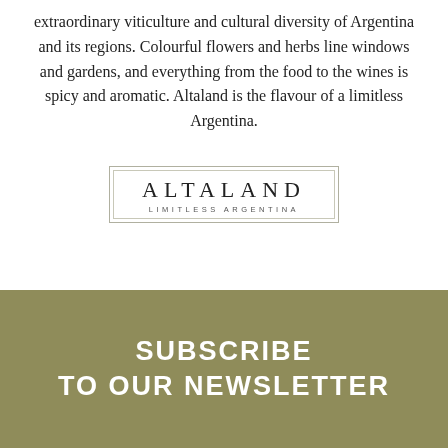extraordinary viticulture and cultural diversity of Argentina and its regions. Colourful flowers and herbs line windows and gardens, and everything from the food to the wines is spicy and aromatic. Altaland is the flavour of a limitless Argentina.
[Figure (logo): Altaland logo — rectangular border with inner border, text ALTALAND in spaced serif capitals, tagline LIMITLESS ARGENTINA in small spaced sans-serif below]
SUBSCRIBE TO OUR NEWSLETTER